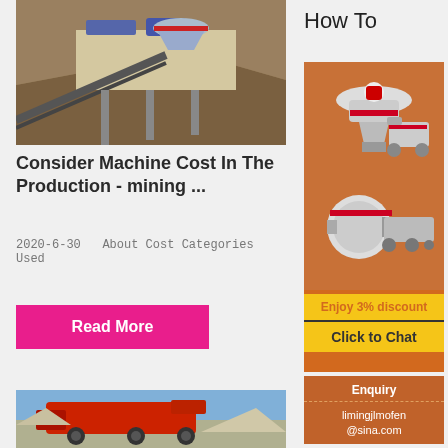How To
[Figure (photo): Mining/crushing machinery at an open-pit operation site]
Consider Machine Cost In The Production - mining ...
2020-6-30   About Cost Categories Used
Read More
[Figure (photo): Red mining/quarry machine working on a gravel pile]
[Figure (illustration): Advertisement: Mining equipment illustrations on orange background with 'Enjoy 3% discount' and 'Click to Chat' offers]
Enquiry
limingjlmofen@sina.com